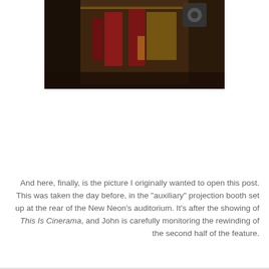[Figure (photo): A dark photograph showing what appears to be film reels and equipment in a projection booth, with red and brown objects visible against a wooden background.]
And here, finally, is the picture I originally wanted to open this post. This was taken the day before, in the "auxiliary" projection booth set up at the rear of the New Neon's auditorium. It's after the showing of This Is Cinerama, and John is carefully monitoring the rewinding of the second half of the feature.